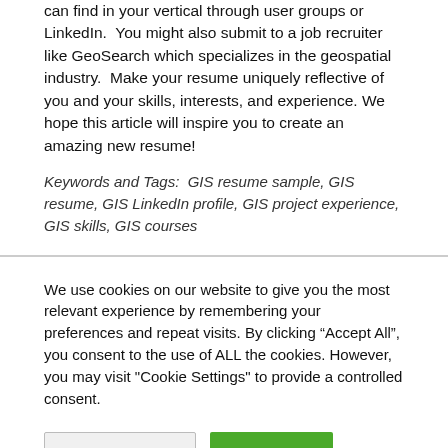can find in your vertical through user groups or LinkedIn.  You might also submit to a job recruiter like GeoSearch which specializes in the geospatial industry.  Make your resume uniquely reflective of you and your skills, interests, and experience. We hope this article will inspire you to create an amazing new resume!
Keywords and Tags:  GIS resume sample, GIS resume, GIS LinkedIn profile, GIS project experience, GIS skills, GIS courses
We use cookies on our website to give you the most relevant experience by remembering your preferences and repeat visits. By clicking “Accept All”, you consent to the use of ALL the cookies. However, you may visit "Cookie Settings" to provide a controlled consent.
Cookie Settings
Accept All